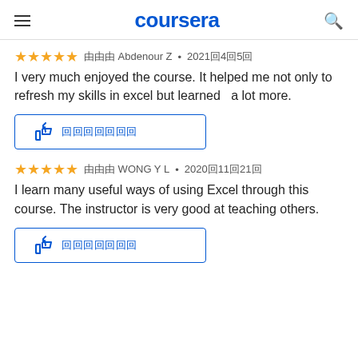coursera
★★★★★ 由 Abdenour Z • 2021年4月5日
I very much enjoyed the course. It helped me not only to refresh my skills in excel but learned  a lot more.
[Figure (other): Helpful thumbs-up button with text (helpful in non-Latin characters)]
★★★★★ 由 WONG Y L • 2020年11月21日
I learn many useful ways of using Excel through this course. The instructor is very good at teaching others.
[Figure (other): Helpful thumbs-up button with text (helpful in non-Latin characters)]